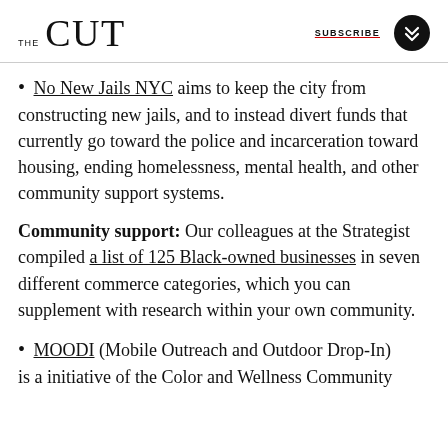THE CUT | SUBSCRIBE
No New Jails NYC aims to keep the city from constructing new jails, and to instead divert funds that currently go toward the police and incarceration toward housing, ending homelessness, mental health, and other community support systems.
Community support: Our colleagues at the Strategist compiled a list of 125 Black-owned businesses in seven different commerce categories, which you can supplement with research within your own community.
MOODI (Mobile Outreach and Outdoor Drop-In) is a initiative of the Color and Wellness Community...